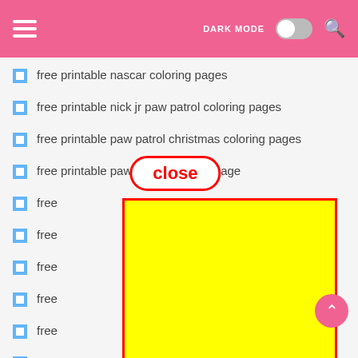DARK MODE [toggle] [search]
free printable nascar coloring pages
free printable nick jr paw patrol coloring pages
free printable paw patrol christmas coloring pages
free printable paw patrol coloring page
free [obscured by ad]
free [obscured by ad]
free [obscured by ad]
free [obscured by ad]
free [obscured] ges
free [obscured] pages
free [obscured] ing pages
[Figure (screenshot): Yellow advertisement box with red border overlaying list items, with a red-bordered 'close' button above it. A pink scroll-to-top button visible at lower right.]